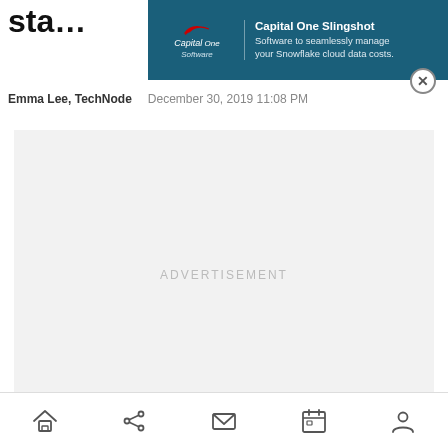sta…
[Figure (screenshot): Capital One Slingshot advertisement banner with Capital One Software logo on teal background. Text reads: 'Capital One Slingshot — Software to seamlessly manage your Snowflake cloud data costs.' with a close (X) button.]
Emma Lee, TechNode    December 30, 2019 11:08 PM
[Figure (other): Advertisement placeholder box with light gray background and 'ADVERTISEMENT' label in gray text.]
[Figure (other): Bottom navigation bar with five icons: home, share, mail/envelope, calendar, and user/profile.]